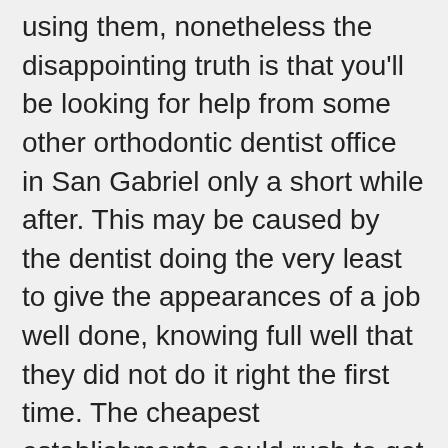using them, nonetheless the disappointing truth is that you'll be looking for help from some other orthodontic dentist office in San Gabriel only a short while after. This may be caused by the dentist doing the very least to give the appearances of a job well done, knowing full well that they did not do it right the first time. The cheapest establishments could rush to get the task finished and have employed a substantially a lot less skilled staff. Suspicion has to be raised in the event the expense of the orthodontic dentist office is simply too good to be true.